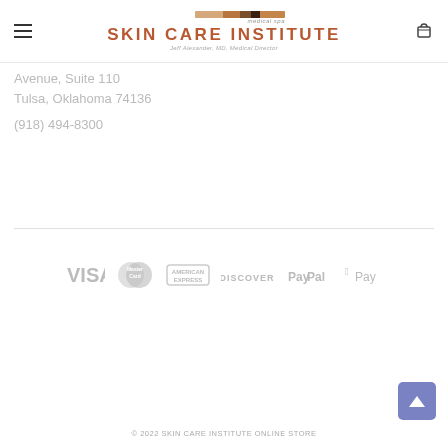medical spa SKIN CARE INSTITUTE Jeff Alexander, MD, Medical Director
Avenue, Suite 110
Tulsa, Oklahoma 74136
(918) 494-8300
[Figure (logo): Payment method logos: VISA, MasterCard, American Express, Discover, PayPal, Apple Pay]
© 2022 SKIN CARE INSTITUTE ONLINE STORE